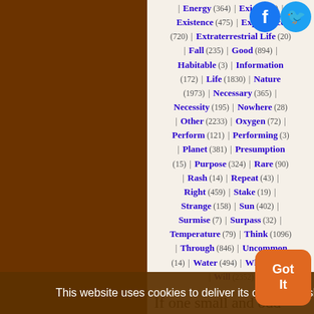Energy (364) | Exist (447) | Existence (475) | Experience (720) | Extraterrestrial Life (20) | Fall (235) | Good (894) | Habitable (3) | Information (172) | Life (1830) | Nature (1973) | Necessary (365) | Necessity (195) | Nowhere (28) | Other (2233) | Oxygen (72) | Perform (121) | Performing (3) | Planet (381) | Presumption (15) | Purpose (324) | Rare (90) | Rash (14) | Repeat (43) | Right (459) | Stake (19) | Strange (158) | Sun (402) | Surmise (7) | Surpass (32) | Temperature (79) | Think (1096) | Through (846) | Uncommon (14) | Water (494) | Whole (746) | Will (2352)
If one small and odd lineage of fishes had not evolved fins capable of bearing weight on land (though evolved for different reasons in lakes and seas...)
This website uses cookies to deliver its content, to show relevant ads and to analyze its traffic. Learn More